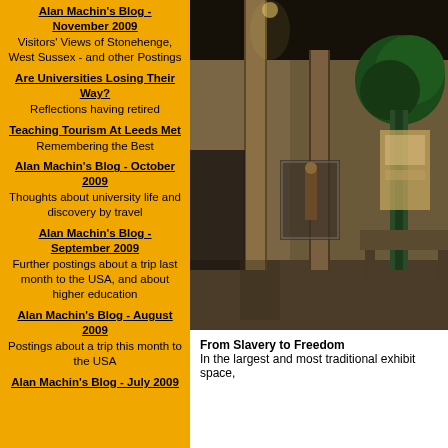Alan Machin's Blog - November 2009
Visitors' Views of Stonehenge, West Sussex - and other Postings
Are Universities Losing Their Way?
Reflections having retired
Teaching Tourism At Leeds Met
Remembering the Best
Alan Machin's Blog - October 2009
Thoughts about university life and discovery by travel
Alan Machin's Blog - September 2009
Further postings about a trip last month to the USA, and about higher education
Alan Machin's Blog - August 2009
Postings about a trip this month to the USA
Alan Machin's Blog - July 2009
[Figure (photo): Interior of a museum exhibit space showing tall wooden pillars, display cases with figures, a large tree prop, and exhibit panels in a dimly lit hall. The exhibit appears to be about African American history.]
From Slavery to Freedom
In the largest and most traditional exhibit space,